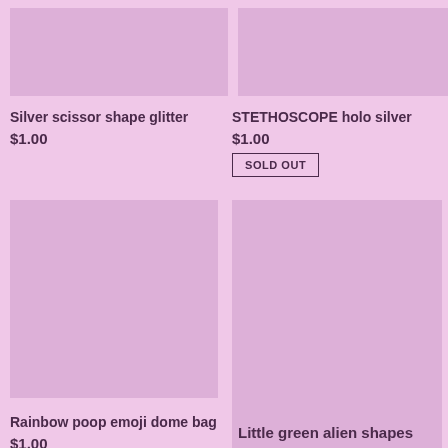[Figure (photo): Product image placeholder - Silver scissor shape glitter, light purple/mauve background]
Silver scissor shape glitter
$1.00
[Figure (photo): Product image placeholder - STETHOSCOPE holo silver, light purple/mauve background]
STETHOSCOPE holo silver
$1.00
SOLD OUT
[Figure (photo): Product image placeholder - Rainbow poop emoji dome bag, light purple/mauve background]
Rainbow poop emoji dome bag
$1.00
[Figure (photo): Product image placeholder - Little green alien shapes, light purple/mauve background]
Little green alien shapes